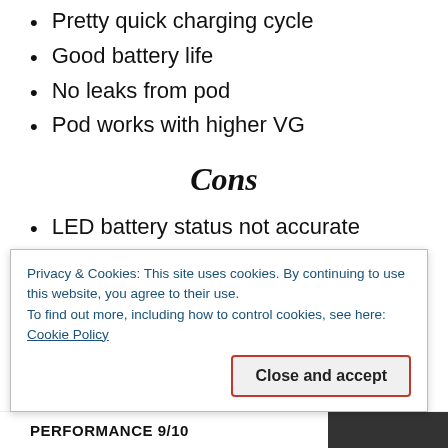Pretty quick charging cycle
Good battery life
No leaks from pod
Pod works with higher VG
Cons
LED battery status not accurate
Fire button is small
Fire button not really required
No Pass-through vaping facility
Privacy & Cookies: This site uses cookies. By continuing to use this website, you agree to their use.
To find out more, including how to control cookies, see here: Cookie Policy
Close and accept
PERFORMANCE 9/10